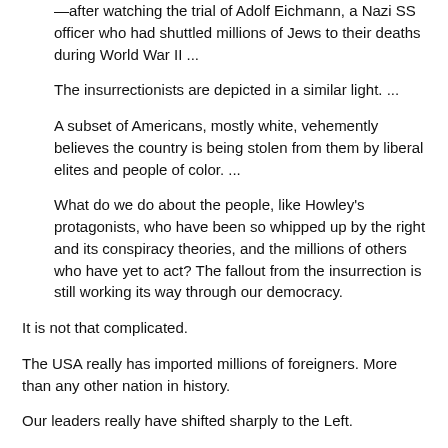—after watching the trial of Adolf Eichmann, a Nazi SS officer who had shuttled millions of Jews to their deaths during World War II ...
The insurrectionists are depicted in a similar light. ...
A subset of Americans, mostly white, vehemently believes the country is being stolen from them by liberal elites and people of color. ...
What do we do about the people, like Howley's protagonists, who have been so whipped up by the right and its conspiracy theories, and the millions of others who have yet to act? The fallout from the insurrection is still working its way through our democracy.
It is not that complicated.
The USA really has imported millions of foreigners. More than any other nation in history.
Our leaders really have shifted sharply to the Left.